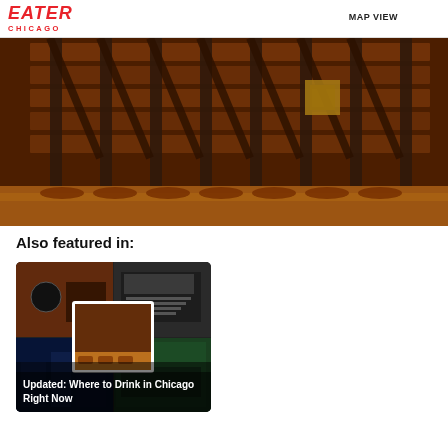EATER CHICAGO
MAP VIEW
[Figure (photo): Interior of a bar/restaurant showing rows of bar stools along a bar counter with warm amber/orange lighting and wooden shelving behind the bar]
Also featured in:
[Figure (photo): Composite article card with four photos of Chicago bar interiors and a centered overlay photo, with caption text 'Updated: Where to Drink in Chicago Right Now']
Updated: Where to Drink in Chicago Right Now